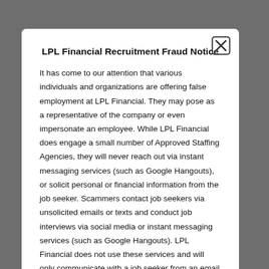LPL Financial Recruitment Fraud Notice
It has come to our attention that various individuals and organizations are offering false employment at LPL Financial. They may pose as a representative of the company or even impersonate an employee. While LPL Financial does engage a small number of Approved Staffing Agencies, they will never reach out via instant messaging services (such as Google Hangouts), or solicit personal or financial information from the job seeker. Scammers contact job seekers via unsolicited emails or texts and conduct job interviews via social media or instant messaging services (such as Google Hangouts). LPL Financial does not use these services and will only communicate with a job seeker from an email address ending in @lplfinancial.com. LPL Financial will only contact individuals who have already applied for a position at LPL Financial.